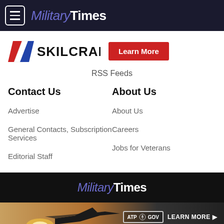Military Times
[Figure (logo): SKILCRAFT logo with diagonal striped chevron in red, white, blue and 'Learn More' red button]
RSS Feeds
Contact Us
About Us
Advertise
About Us
General Contacts, Subscription Services
Careers
Editorial Staff
Jobs for Veterans
Military Times
[Figure (photo): Fighter jet (F-16 style) on tarmac at sunset with ATP.GOV Learn More advertisement]